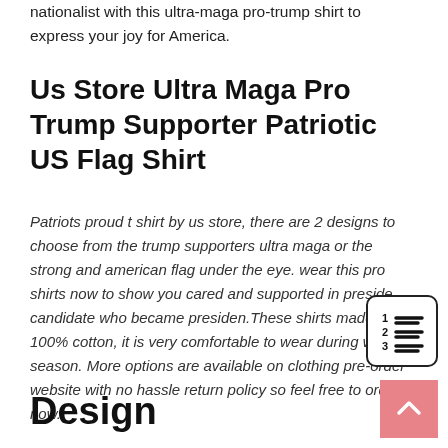nationalist with this ultra-maga pro-trump shirt to express your joy for America.
Us Store Ultra Maga Pro Trump Supporter Patriotic US Flag Shirt
Patriots proud t shirt by us store, there are 2 designs to choose from the trump supporters ultra maga or the strong and american flag under the eye. wear this pro shirts now to show you cared and supported in presidential candidate who became presiden.These shirts made of 100% cotton, it is very comfortable to wear during warmer season. More options are available on clothing pre-order website with no hassle return policy so feel free to order now.
Design